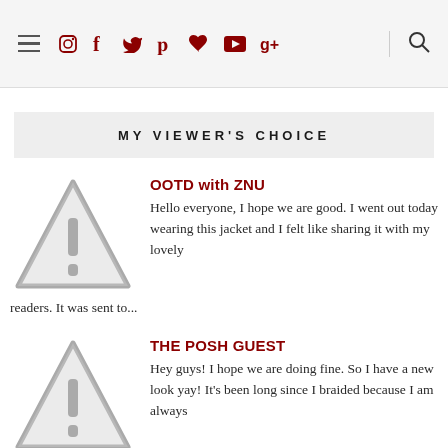Navigation bar with hamburger menu and social icons: Instagram, Facebook, Twitter, Pinterest, Heart, YouTube, Google+, and Search
MY VIEWER'S CHOICE
[Figure (illustration): Warning triangle placeholder image]
OOTD with ZNU
Hello everyone, I hope we are good. I went out today wearing this jacket and I felt like sharing it with my lovely readers. It was sent to...
[Figure (illustration): Warning triangle placeholder image]
THE POSH GUEST
Hey guys! I hope we are doing fine. So I have a new look yay! It's been long since I braided because I am always